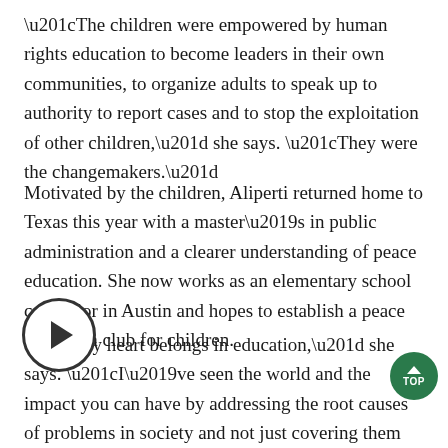“The children were empowered by human rights education to become leaders in their own communities, to organize adults to speak up to authority to report cases and to stop the exploitation of other children,” she says. “They were the changemakers.”
Motivated by the children, Aliperti returned home to Texas this year with a master’s in public administration and a clearer understanding of peace education. She now works as an elementary school counselor in Austin and hopes to establish a peace education club for children.
“My heart belongs in education,” she says. “I’ve seen the world and the impact you can have by addressing the root causes of problems in society and not just covering them with band aids. That can only be done by an education that empowers students to stand up for what they believe in to benefit everyone, especially the voiceless and oppressed.”
[Figure (other): Video play button overlay (circular play icon)]
[Figure (other): Green TOP navigation button in bottom right corner]